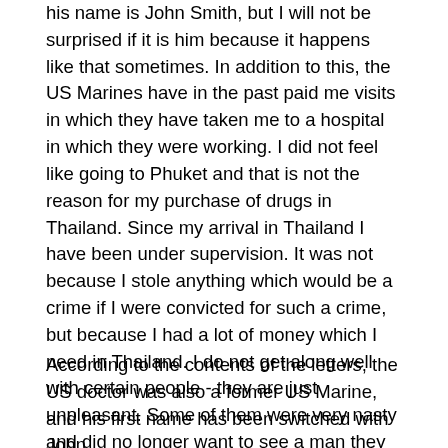his name is John Smith, but I will not be surprised if it is him because it happens like that sometimes. In addition to this, the US Marines have in the past paid me visits in which they have taken me to a hospital in which they were working. I did not feel like going to Phuket and that is not the reason for my purchase of drugs in Thailand. Since my arrival in Thailand I have been under supervision. It was not because I stole anything which would be a crime if I were convicted for such a crime, but because I had a lot of money which I need in Thailand. I do not get along well with certain people - they are just unpleasant. Some of them were very nasty and did no longer want to see a man they called Dr Smith.
According to the contents of the letters, the US doctor was also a former US Marine, and his first name has been switched with John